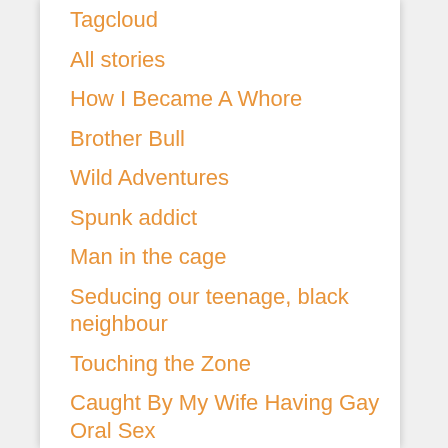Tagcloud
All stories
How I Became A Whore
Brother Bull
Wild Adventures
Spunk addict
Man in the cage
Seducing our teenage, black neighbour
Touching the Zone
Caught By My Wife Having Gay Oral Sex
Trans woman at the club
My Step Son Made Me Do It
Barber Pole Poke
Gabe And Brian xxx
Campsite Fuck